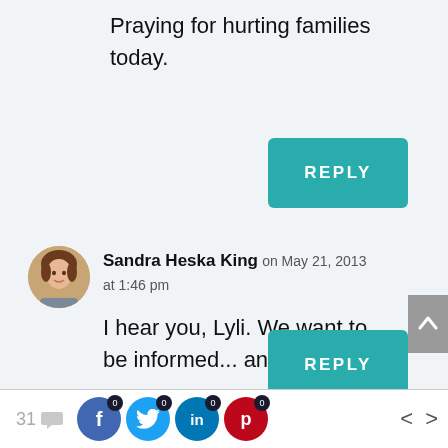Praying for hurting families today.
REPLY
Sandra Heska King on May 21, 2013 at 1:46 pm
I hear you, Lyli. We want to be informed... and not.
REPLY
31  0  0  0